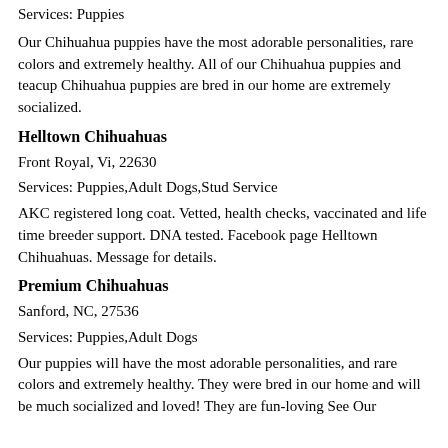Services: Puppies
Our Chihuahua puppies have the most adorable personalities, rare colors and extremely healthy. All of our Chihuahua puppies and teacup Chihuahua puppies are bred in our home are extremely socialized.
Helltown Chihuahuas
Front Royal, Vi, 22630
Services: Puppies,Adult Dogs,Stud Service
AKC registered long coat. Vetted, health checks, vaccinated and life time breeder support. DNA tested. Facebook page Helltown Chihuahuas. Message for details.
Premium Chihuahuas
Sanford, NC, 27536
Services: Puppies,Adult Dogs
Our puppies will have the most adorable personalities, and rare colors and extremely healthy. They were bred in our home and will be much socialized and loved! They are fun-loving See Our